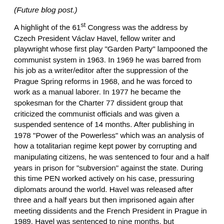(Future blog post.)
A highlight of the 61st Congress was the address by Czech President Václav Havel, fellow writer and playwright whose first play "Garden Party" lampooned the communist system in 1963. In 1969 he was barred from his job as a writer/editor after the suppression of the Prague Spring reforms in 1968, and he was forced to work as a manual laborer. In 1977 he became the spokesman for the Charter 77 dissident group that criticized the communist officials and was given a suspended sentence of 14 months. After publishing in 1978 "Power of the Powerless" which was an analysis of how a totalitarian regime kept power by corrupting and manipulating citizens, he was sentenced to four and a half years in prison for "subversion" against the state. During this time PEN worked actively on his case, pressuring diplomats around the world. Havel was released after three and a half years but then imprisoned again after meeting dissidents and the French President in Prague in 1989. Havel was sentenced to nine months, but widespread protests from home and abroad, many generated by PEN, brought his release in May. In November, 1989 the communist regime fell. In December 1989 Václav Havel was elected President of Czechoslovakia, which eventually split. At the time of the PEN Congress he was in his first year as